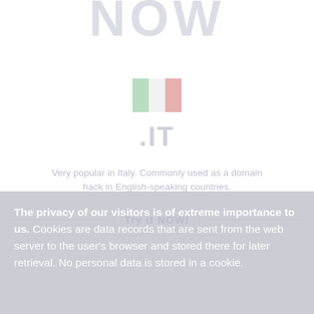NOW
[Figure (illustration): Italian flag icon — green and red vertical stripes]
.IT
Very popular in Italy. Commonly used as a domain hack in English-speaking countries.
Try it NOW!
The privacy of our visitors is of extreme importance to us. Cookies are data records that are sent from the web server to the user's browser and stored there for later retrieval. No personal data is stored in a cookie.